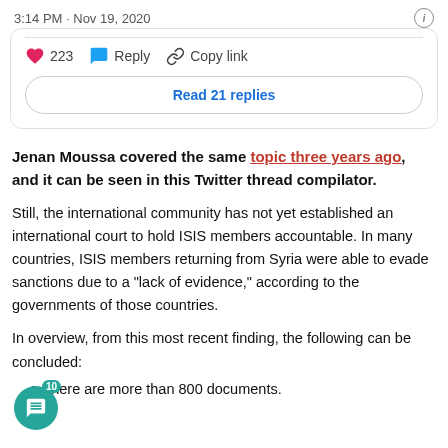3:14 PM · Nov 19, 2020
223  Reply  Copy link
Read 21 replies
Jenan Moussa covered the same topic three years ago, and it can be seen in this Twitter thread compilator.
Still, the international community has not yet established an international court to hold ISIS members accountable. In many countries, ISIS members returning from Syria were able to evade sanctions due to a "lack of evidence," according to the governments of those countries.
In overview, from this most recent finding, the following can be concluded:
There are more than 800 documents.